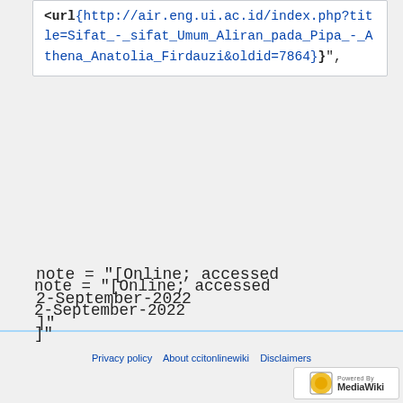<url{http://air.eng.ui.ac.id/index.php?title=Sifat_-_sifat_Umum_Aliran_pada_Pipa_-_Athena_Anatolia_Firdauzi&oldid=7864}",
note = "[Online; accessed 2-September-2022 ]"
}
Privacy policy   About ccitonlinewiki   Disclaimers